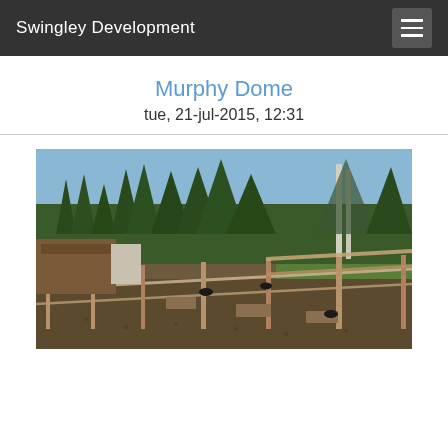Swingley Development
Murphy Dome
tue, 21-jul-2015, 12:31
[Figure (photo): Outdoor photo of a fenced dog yard or animal enclosure with small black animals (dogs or goats) visible. Wooden structures and buildings on the left, tall evergreen and birch trees in the background under a clear blue sky. The ground is covered with bark/gravel. Wood fencing runs diagonally through the scene.]